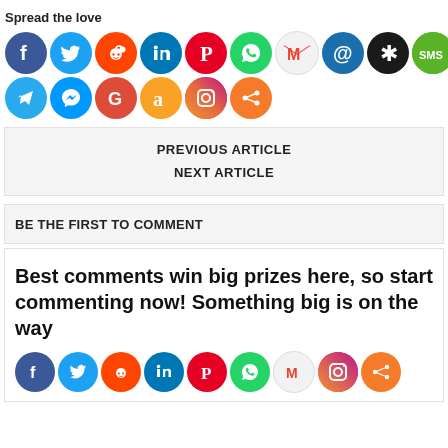Spread the love
[Figure (illustration): Two rows of social media share icons: Facebook, Twitter, Reddit, LinkedIn, Pinterest, WhatsApp, Gmail, Email, Asterisk, SMS, Telegram, Messenger, Google, Amazon, Instagram, Share]
PREVIOUS ARTICLE
NEXT ARTICLE
BE THE FIRST TO COMMENT
Best comments win big prizes here, so start commenting now! Something big is on the way
[Figure (illustration): Row of social media share icons at the bottom: Facebook, Twitter, Reddit, LinkedIn, Pinterest, WhatsApp, Gmail, Instagram, Share]